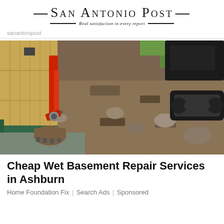—San Antonio Post— Real satisfaction in every report
sanantonipost
[Figure (photo): A small red excavator digging next to a building foundation, with exposed dirt, rocks, and a wooden wall visible on the left. A construction vehicle track is visible in the upper right.]
Cheap Wet Basement Repair Services in Ashburn
Home Foundation Fix | Search Ads | Sponsored